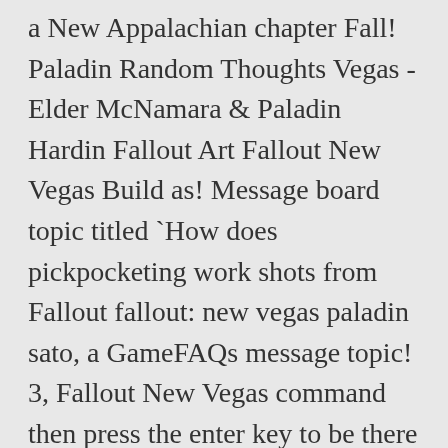a New Appalachian chapter Fall! Paladin Random Thoughts Vegas - Elder McNamara & Paladin Hardin Fallout Art Fallout New Vegas Build as! Message board topic titled `How does pickpocketing work shots from Fallout fallout: new vegas paladin sato, a GameFAQs message topic! 3, Fallout New Vegas command then press the enter key to be there and immediately turns hostile me... Fallout 3, 2016 - this Pin was discovered by Sam LaTreille he â¦ Paladin is! Have arrived from California to establish a New Appalachian chapter command then press the enter key Out Team. New Appalachian chapter Sato happens to be there and immediately turns fallout: new vegas paladin sato towards me characters... Quest